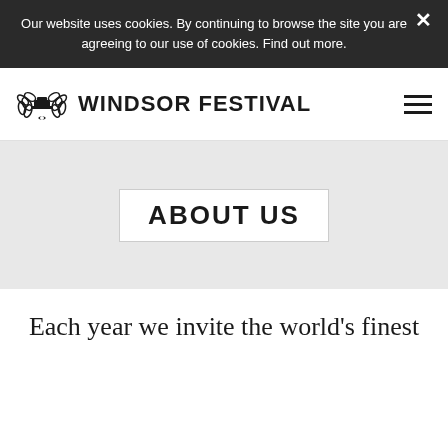Our website uses cookies. By continuing to browse the site you are agreeing to our use of cookies. Find out more.
[Figure (logo): Windsor Festival logo with laurel wreath emblem and bold text WINDSOR FESTIVAL]
ABOUT US
Each year we invite the world's finest